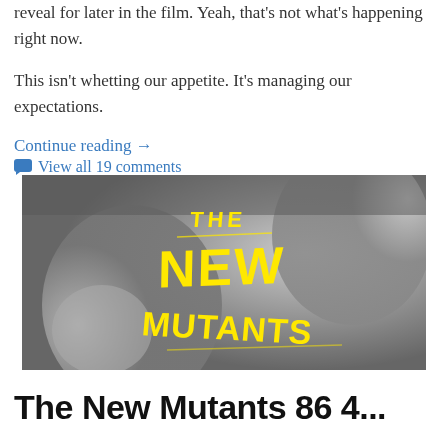reveal for later in the film. Yeah, that's not what's happening right now.
This isn't whetting our appetite. It's managing our expectations.
Continue reading →
View all 19 comments
[Figure (photo): Movie poster for 'The New Mutants' showing two faces in black and white with yellow hand-drawn style title text]
The New Mutants 86 4...